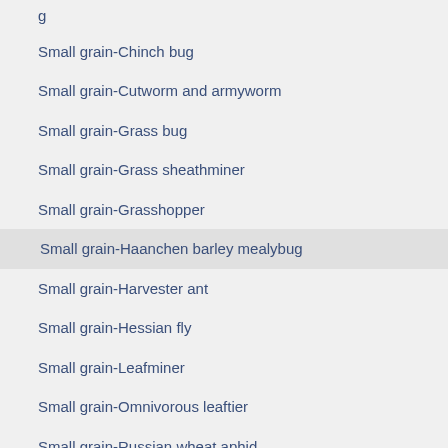Small grain-Chinch bug
Small grain-Cutworm and armyworm
Small grain-Grass bug
Small grain-Grass sheathminer
Small grain-Grasshopper
Small grain-Haanchen barley mealybug
Small grain-Harvester ant
Small grain-Hessian fly
Small grain-Leafminer
Small grain-Omnivorous leaftier
Small grain-Russian wheat aphid
Small grain-Sawfly